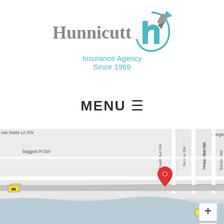[Figure (logo): Hunnicutt Insurance Agency logo with stylized 'h' icon in teal/blue]
MENU ☰
[Figure (map): Google Maps screenshot showing location pin on a street map near First St SW and Fourth Ave SW, with roads including Ranger St SW, Baggett Pl SW, Rose Marie Ln SW, Church Ave SE, Harbeson Ave SE, Second Ave SW, 3rd Ave SW, Fourth Ave SW, and highway 98. A red location pin marks the agency location.]